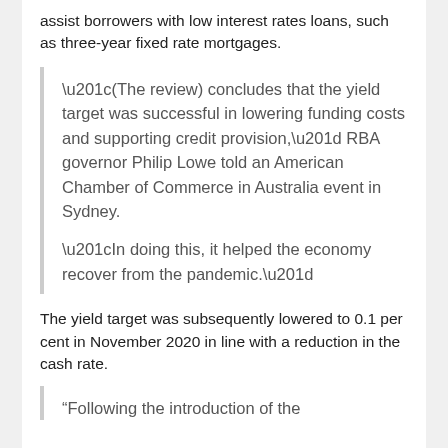assist borrowers with low interest rates loans, such as three-year fixed rate mortgages.
“(The review) concludes that the yield target was successful in lowering funding costs and supporting credit provision,” RBA governor Philip Lowe told an American Chamber of Commerce in Australia event in Sydney.
“In doing this, it helped the economy recover from the pandemic.”
The yield target was subsequently lowered to 0.1 per cent in November 2020 in line with a reduction in the cash rate.
“Following the introduction of the